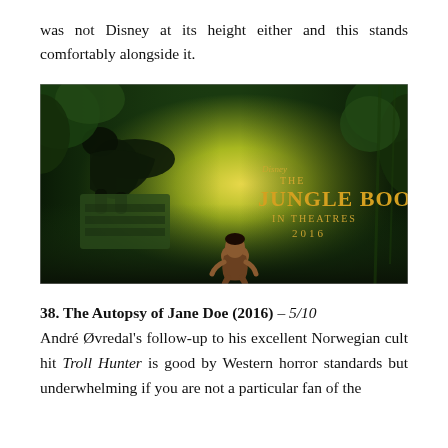was not Disney at its height either and this stands comfortably alongside it.
[Figure (photo): Movie poster for Disney's The Jungle Book (2016). Shows a black panther perched on ancient ruins on the left, a young boy (Mowgli) crouching in the jungle center, and lush green jungle foliage in the background with golden light. Text reads: Disney THE JUNGLE BOOK IN THEATRES 2016]
38. The Autopsy of Jane Doe (2016) – 5/10
André Øvredal's follow-up to his excellent Norwegian cult hit Troll Hunter is good by Western horror standards but underwhelming if you are not a particular fan of the